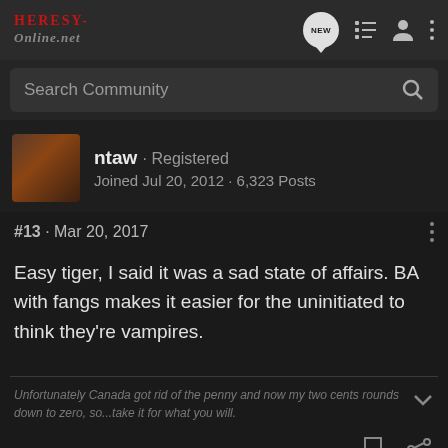HERESY-ONLINE.NET
Search Community
ntaw · Registered
Joined Jul 20, 2012 · 6,323 Posts
#13 · Mar 20, 2017
Easy tiger, I said it was a sad state of affairs. BA with fangs makes it easier for the uninitiated to think they're vampires.
Unfortunately Canada got rid of the penny and now my two cents rounds down to zero, so...take it for what you will.